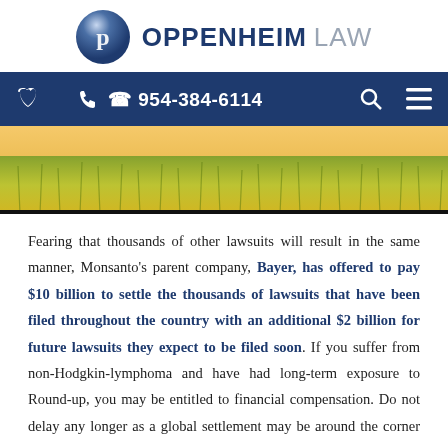[Figure (logo): Oppenheim Law logo with blue circle containing letter P and text OPPENHEIM LAW]
954-384-6114
[Figure (photo): Wheat or grain field with golden/green colors, outdoor nature scene]
Fearing that thousands of other lawsuits will result in the same manner, Monsanto’s parent company, Bayer, has offered to pay $10 billion to settle the thousands of lawsuits that have been filed throughout the country with an additional $2 billion for future lawsuits they expect to be filed soon. If you suffer from non-Hodgkin-lymphoma and have had long-term exposure to Round-up, you may be entitled to financial compensation. Do not delay any longer as a global settlement may be around the corner now.